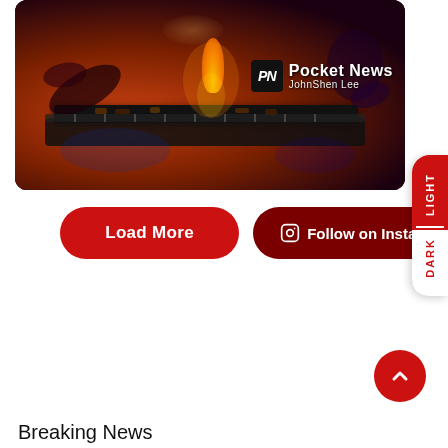[Figure (photo): Barbecue grill scene with flame visible, people tending to grill, dark moody lighting with reds and purples. Pocket News logo overlay with 'PN' icon and 'JohnShen Lee' byline.]
LIGHT
DARK
Load More
Follow on Instagram
Breaking News